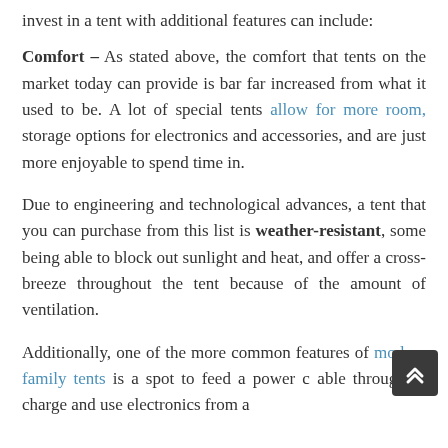invest in a tent with additional features can include:
Comfort – As stated above, the comfort that tents on the market today can provide is bar far increased from what it used to be. A lot of special tents allow for more room, storage options for electronics and accessories, and are just more enjoyable to spend time in.
Due to engineering and technological advances, a tent that you can purchase from this list is weather-resistant, some being able to block out sunlight and heat, and offer a cross-breeze throughout the tent because of the amount of ventilation.
Additionally, one of the more common features of modern family tents is a spot to feed a power cable through to charge and use electronics from a